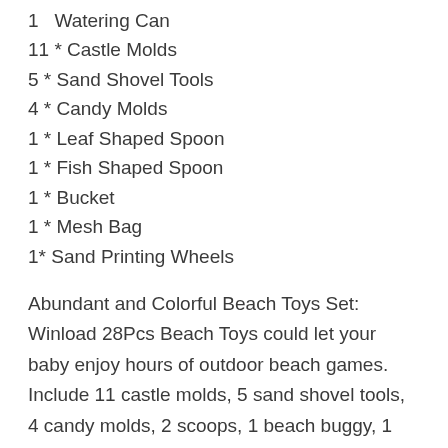1 * Watering Can
11 * Castle Molds
5 * Sand Shovel Tools
4 * Candy Molds
1 * Leaf Shaped Spoon
1 * Fish Shaped Spoon
1 * Bucket
1 * Mesh Bag
1* Sand Printing Wheels
Abundant and Colorful Beach Toys Set: Winload 28Pcs Beach Toys could let your baby enjoy hours of outdoor beach games. Include 11 castle molds, 5 sand shovel tools, 4 candy molds, 2 scoops, 1 beach buggy, 1 sand water wheel, 1 bucket, 1 watering can, 1 mesh bag and some accessories. In short, this luxurious set of beach toys is worth your money and will definitely make your baby happy the entire time.